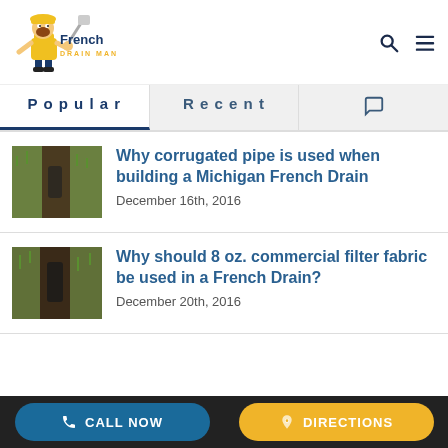[Figure (logo): French Drain Man logo with cartoon mascot in yellow overalls]
Popular | Recent | Comments tab
[Figure (photo): Thumbnail of a trench/french drain installation]
Why corrugated pipe is used when building a Michigan French Drain
December 16th, 2016
[Figure (photo): Thumbnail of a trench/french drain installation]
Why should 8 oz. commercial filter fabric be used in a French Drain?
December 20th, 2016
CALL NOW | DIRECTIONS